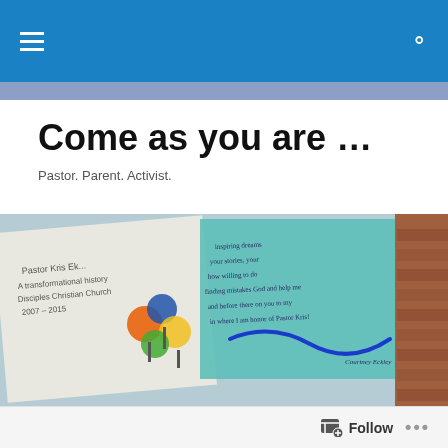Navigation bar with hamburger menu and search icon
Come as you are …
Pastor. Parent. Activist.
[Figure (photo): Blog header photo showing printed documents, colorful figures, handwritten note on teal paper with a hand-drawn blue snake/wave line, and brick background]
POSTED BY
I just can't …
Follow button with icon and ellipsis menu